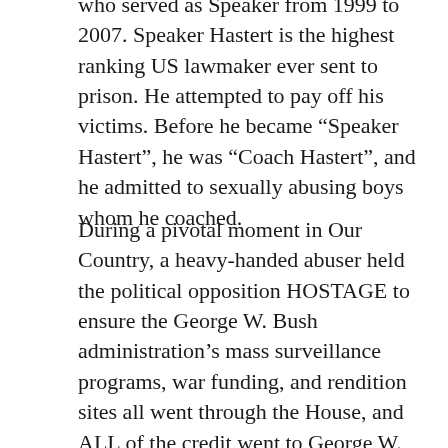who served as Speaker from 1999 to 2007. Speaker Hastert is the highest ranking US lawmaker ever sent to prison. He attempted to pay off his victims. Before he became “Speaker Hastert”, he was “Coach Hastert”, and he admitted to sexually abusing boys whom he coached.
During a pivotal moment in Our Country, a heavy-handed abuser held the political opposition HOSTAGE to ensure the George W. Bush administration’s mass surveillance programs, war funding, and rendition sites all went through the House, and ALL of the credit went to George W. Bush and the Republican Party. If the Majority was not in favor, regardless of the overall support, a bill would not even be brought up for debate.